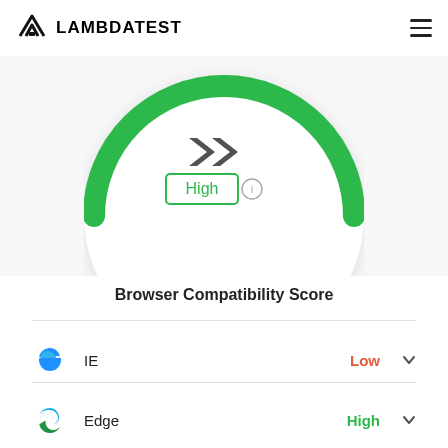LAMBDATEST
[Figure (other): Circular gauge/speedometer showing 'High' browser compatibility score with green arc and dark indicator at top]
Browser Compatibility Score
IE — Low
Edge — High